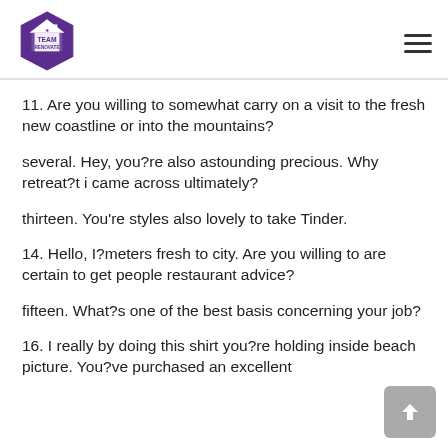Team Renovate logo and hamburger menu
11. Are you willing to somewhat carry on a visit to the fresh new coastline or into the mountains?
several. Hey, you?re also astounding precious. Why retreat?t i came across ultimately?
thirteen. You're styles also lovely to take Tinder.
14. Hello, I?meters fresh to city. Are you willing to are certain to get people restaurant advice?
fifteen. What?s one of the best basis concerning your job?
16. I really by doing this shirt you?re holding inside beach picture. You?ve purchased an excellent